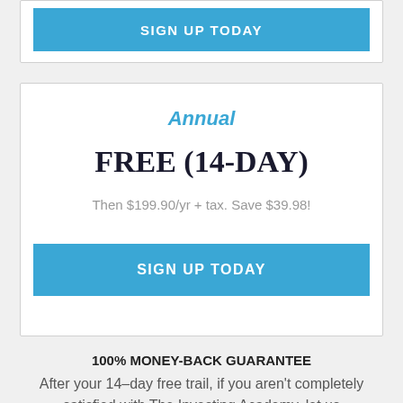SIGN UP TODAY
Annual
FREE (14-DAY)
Then $199.90/yr + tax. Save $39.98!
SIGN UP TODAY
100% MONEY-BACK GUARANTEE
After your 14-day free trail, if you aren't completely satisfied with The Investing Academy, let us